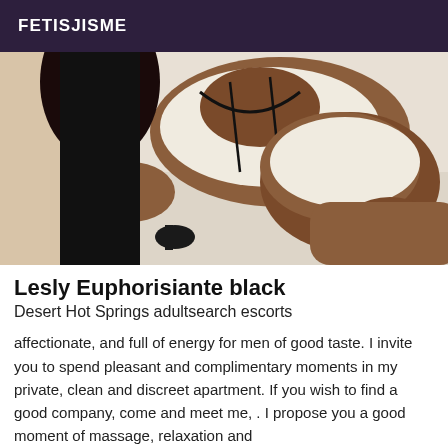FETISJISME
[Figure (photo): A person posing in a white lingerie outfit on a white surface, with a green tattoo reading 'Lesly' on the thigh.]
Lesly Euphorisiante black
Desert Hot Springs adultsearch escorts
affectionate, and full of energy for men of good taste. I invite you to spend pleasant and complimentary moments in my private, clean and discreet apartment. If you wish to find a good company, come and meet me, . I propose you a good moment of massage, relaxation and